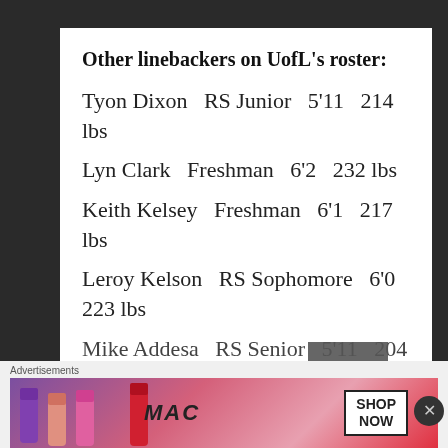Other linebackers on UofL's roster:
Tyon Dixon   RS Junior   5'11   214 lbs
Lyn Clark   Freshman   6'2   232 lbs
Keith Kelsey   Freshman   6'1   217 lbs
Leroy Kelson   RS Sophomore   6'0   223 lbs
Mike Addesa   RS Senior   5'11   204 lb
Advertisements
[Figure (photo): MAC cosmetics advertisement banner showing lipsticks with SHOP NOW button]